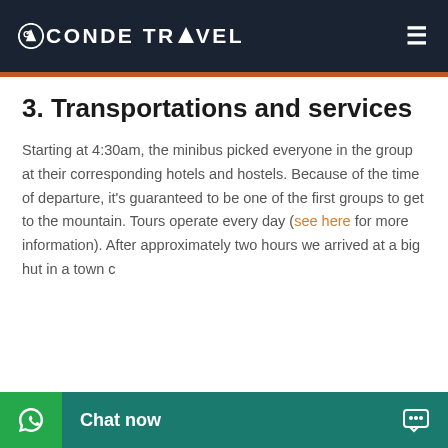CONDE TRAVEL
3. Transportations and services
Starting at 4:30am, the minibus picked everyone in the group at their corresponding hotels and hostels. Because of the time of departure, it's guaranteed to be one of the first groups to get to the mountain. Tours operate every day (see here for more information). After approximately two hours we arrived at a big hut in a town c... and for the b...